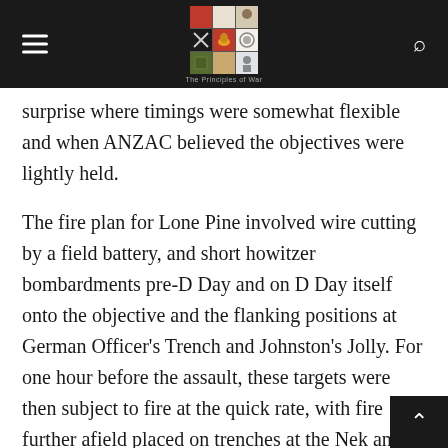The Principles of War — navigation header with logo
surprise where timings were somewhat flexible and when ANZAC believed the objectives were lightly held.

The fire plan for Lone Pine involved wire cutting by a field battery, and short howitzer bombardments pre-D Day and on D Day itself onto the objective and the flanking positions at German Officer's Trench and Johnston's Jolly. For one hour before the assault, these targets were then subject to fire at the quick rate, with fire further afield placed on trenches at the Nek and Chessboard. At zero hour the fire on Lone Pine was lifted to the valley beyond -where naval gunfire was also playing – while fire continued on the flanking positions,